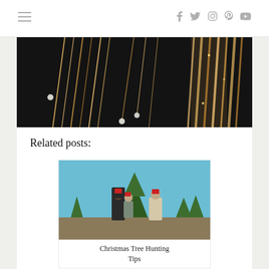≡  f  t  inst  p  yt
[Figure (photo): Close-up photo of gold chain necklaces and earrings displayed on black velvet]
Related posts:
[Figure (photo): Family standing outdoors at a Christmas tree farm with a green pine tree, blue sky in background]
Christmas Tree Hunting Tips